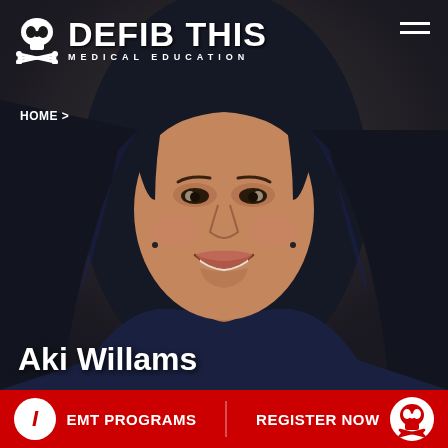[Figure (photo): Portrait photo of Aki Willams, a woman with long dark blue-black hair, smiling, wearing a dark navy sleeveless top, against a dark background]
DEFIB THIS MEDICAL EDUCATION
HOME >
Aki Willams
EMT PROGRAMS    REGISTER NOW